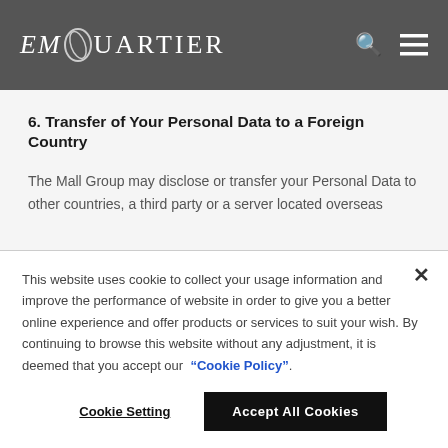EmQuartier
6. Transfer of Your Personal Data to a Foreign Country
The Mall Group may disclose or transfer your Personal Data to other countries, a third party or a server located overseas
This website uses cookie to collect your usage information and improve the performance of website in order to give you a better online experience and offer products or services to suit your wish. By continuing to browse this website without any adjustment, it is deemed that you accept our “Cookie Policy”.
Cookie Setting
Accept All Cookies